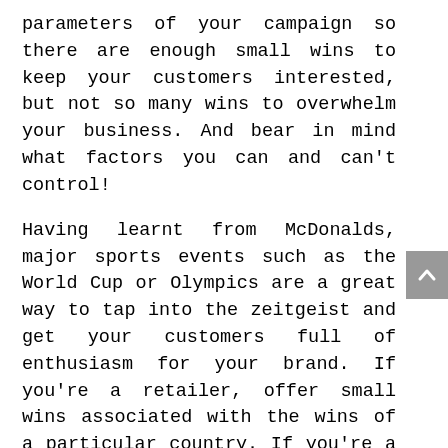parameters of your campaign so there are enough small wins to keep your customers interested, but not so many wins to overwhelm your business. And bear in mind what factors you can and can't control!

Having learnt from McDonalds, major sports events such as the World Cup or Olympics are a great way to tap into the zeitgeist and get your customers full of enthusiasm for your brand. If you're a retailer, offer small wins associated with the wins of a particular country. If you're a service, offer a discount or access to a webinar or free checklist linked with the theme of the event. With a bit of creativity, you can make these big events work for you. (Public service announcement: Remember to abide by the country rights...